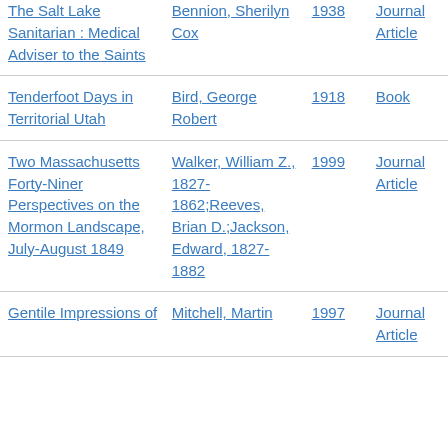| Title | Author | Year | Type |
| --- | --- | --- | --- |
| The Salt Lake Sanitarian : Medical Adviser to the Saints | Bennion, Sherilyn Cox | 1938 | Journal Article |
| Tenderfoot Days in Territorial Utah | Bird, George Robert | 1918 | Book |
| Two Massachusetts Forty-Niner Perspectives on the Mormon Landscape, July-August 1849 | Walker, William Z., 1827-1862;Reeves, Brian D.;Jackson, Edward, 1827-1882 | 1999 | Journal Article |
| Gentile Impressions of | Mitchell, Martin | 1997 | Journal Article |